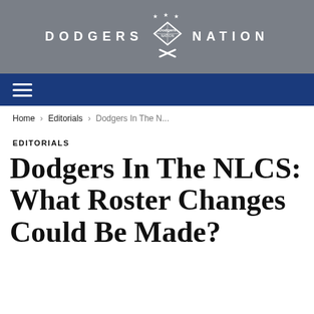[Figure (logo): Dodgers Nation website header logo with text DODGERS NATION and a baseball diamond emblem in white on a gray background]
[Figure (other): Dark blue navigation bar with a hamburger menu icon in white]
Home › Editorials › Dodgers In The N...
EDITORIALS
Dodgers In The NLCS: What Roster Changes Could Be Made?